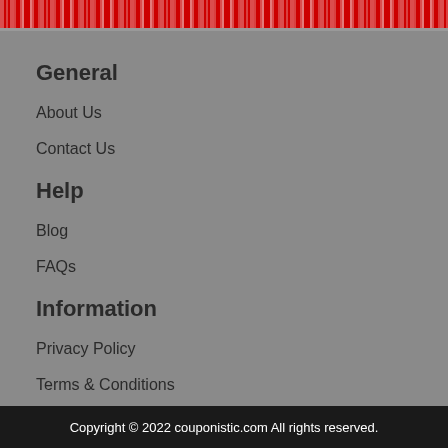General
About Us
Contact Us
Help
Blog
FAQs
Information
Privacy Policy
Terms & Conditions
Copyright © 2022 couponistic.com All rights reserved.